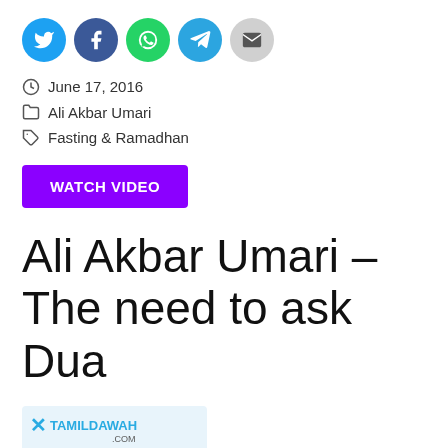[Figure (other): Social media share icons: Twitter (blue), Facebook (dark blue), WhatsApp (green), Telegram (blue), Email (grey)]
June 17, 2016
Ali Akbar Umari
Fasting & Ramadhan
WATCH VIDEO
Ali Akbar Umari – The need to ask Dua
[Figure (photo): Thumbnail image with TAMILDAWAH.COM branding showing a man with beard and white topi (Islamic cap) in a circular portrait, with blue wave design elements.]